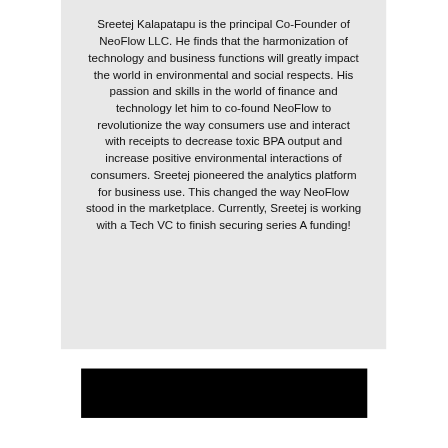Sreetej Kalapatapu is the principal Co-Founder of NeoFlow LLC. He finds that the harmonization of technology and business functions will greatly impact the world in environmental and social respects. His passion and skills in the world of finance and technology let him to co-found NeoFlow to revolutionize the way consumers use and interact with receipts to decrease toxic BPA output and increase positive environmental interactions of consumers. Sreetej pioneered the analytics platform for business use. This changed the way NeoFlow stood in the marketplace. Currently, Sreetej is working with a Tech VC to finish securing series A funding!